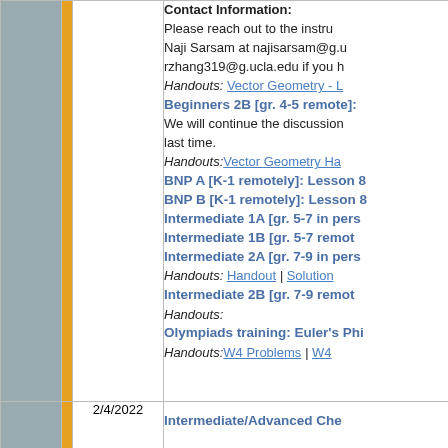|  |  | Date | Content |
| --- | --- | --- | --- |
|  |  |  | Contact Information:
Please reach out to the instru... Naji Sarsam at najisarsam@g.u... rzhang319@g.ucla.edu if you h...
Handouts: Vector Geometry - L...
Beginners 2B [gr. 4-5 remote]:
We will continue the discussion... last time.
Handouts: Vector Geometry Ha...
BNP A [K-1 remotely]: Lesson 8
BNP B [K-1 remotely]: Lesson 8
Intermediate 1A [gr. 5-7 in pers...
Intermediate 1B [gr. 5-7 remot...
Intermediate 2A [gr. 7-9 in pers...
Handouts: Handout | Solution...
Intermediate 2B [gr. 7-9 remot...
Handouts:
Olympiads training: Euler's Phi...
Handouts: W4 Problems | W4... |
|  |  | 2/4/2022 | Intermediate/Advanced Che... |